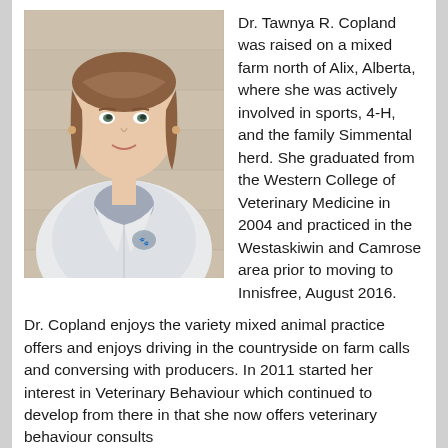[Figure (photo): Professional headshot of Dr. Tawnya R. Copland wearing a white lab coat over a blue collared shirt, with short brown hair, standing against a beige/tan block wall background.]
Dr. Tawnya R. Copland was raised on a mixed farm north of Alix, Alberta, where she was actively involved in sports, 4-H, and the family Simmental herd. She graduated from the Western College of Veterinary Medicine in 2004 and practiced in the Westaskiwin and Camrose area prior to moving to Innisfree, August 2016.
Dr. Copland enjoys the variety mixed animal practice offers and enjoys driving in the countryside on farm calls and conversing with producers. In 2011 started her interest in Veterinary Behaviour which continued to develop from there in that she now offers veterinary behaviour consults